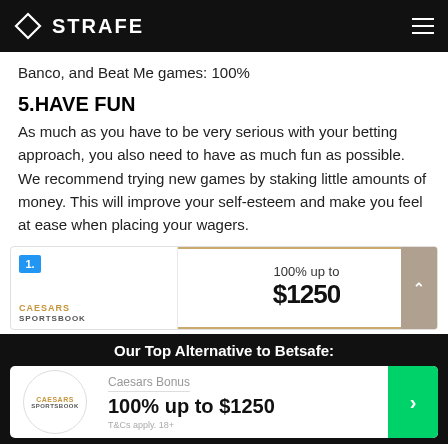STRAFE
Banco, and Beat Me games: 100%
5.HAVE FUN
As much as you have to be very serious with your betting approach, you also need to have as much fun as possible. We recommend trying new games by staking little amounts of money. This will improve your self-esteem and make you feel at ease when placing your wagers.
[Figure (screenshot): Caesars Sportsbook card preview showing rank badge '1.', label 'CAESARS SPORTSBOOK', and bonus text '100% up to $1250' partially visible with golden border and scroll button]
Our Top Alternative to Betsafe:
[Figure (screenshot): Caesars Sportsbook alternative card showing logo, 'Caesars Bonus', '100% up to $1250', 'T&Cs apply. 18+', and green CTA arrow button]